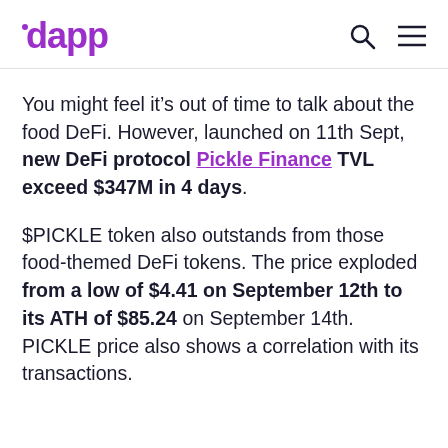dapp
You might feel it’s out of time to talk about the food DeFi. However, launched on 11th Sept, new DeFi protocol Pickle Finance TVL exceed $347M in 4 days.
$PICKLE token also outstands from those food-themed DeFi tokens. The price exploded from a low of $4.41 on September 12th to its ATH of $85.24 on September 14th. PICKLE price also shows a correlation with its transactions.